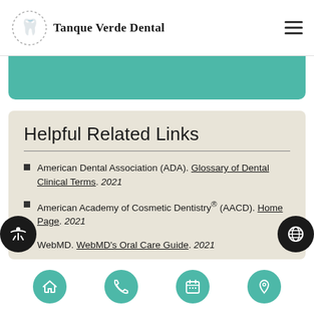Tanque Verde Dental
Helpful Related Links
American Dental Association (ADA). Glossary of Dental Clinical Terms. 2021
American Academy of Cosmetic Dentistry® (AACD). Home Page. 2021
WebMD. WebMD's Oral Care Guide. 2021